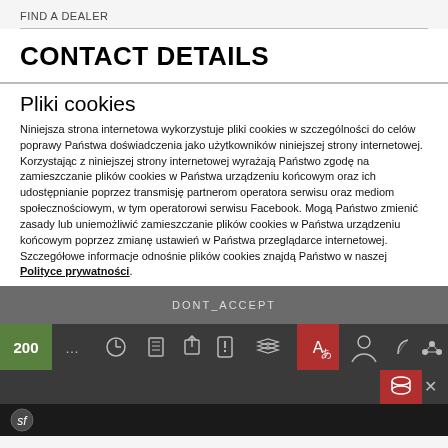FIND A DEALER
CONTACT DETAILS
Pliki cookies
Niniejsza strona internetowa wykorzystuje pliki cookies w szczególności do celów poprawy Państwa doświadczenia jako użytkowników niniejszej strony internetowej. Korzystając z niniejszej strony internetowej wyrażają Państwo zgodę na zamieszczanie plików cookies w Państwa urządzeniu końcowym oraz ich udostępnianie poprzez transmisję partnerom operatora serwisu oraz mediom społecznościowym, w tym operatorowi serwisu Facebook. Mogą Państwo zmienić zasady lub uniemożliwić zamieszczanie plików cookies w Państwa urządzeniu końcowym poprzez zmianę ustawień w Państwa przeglądarce internetowej. Szczegółowe informacje odnośnie plików cookies znajdą Państwo w naszej Polityce prywatności.
DONT_ACCEPT
[Figure (screenshot): Browser toolbar with icons including a green numbered badge showing 200, various tool icons, a red translation icon, user icon, and other browser extension icons]